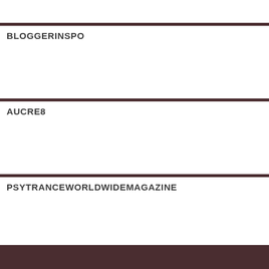BLOGGERINSPO
AUCRE8
PSYTRANCEWORLDWIDEMAGAZINE